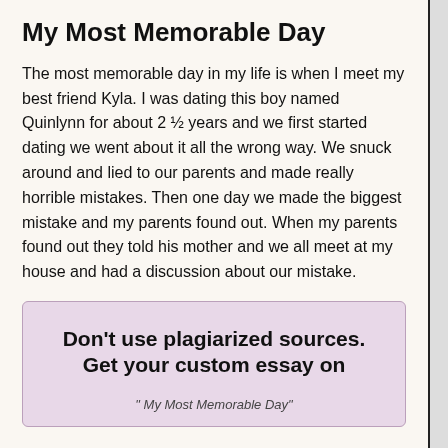My Most Memorable Day
The most memorable day in my life is when I meet my best friend Kyla. I was dating this boy named Quinlynn for about 2 ½ years and we first started dating we went about it all the wrong way. We snuck around and lied to our parents and made really horrible mistakes. Then one day we made the biggest mistake and my parents found out. When my parents found out they told his mother and we all meet at my house and had a discussion about our mistake.
Don't use plagiarized sources. Get your custom essay on
" My Most Memorable Day"